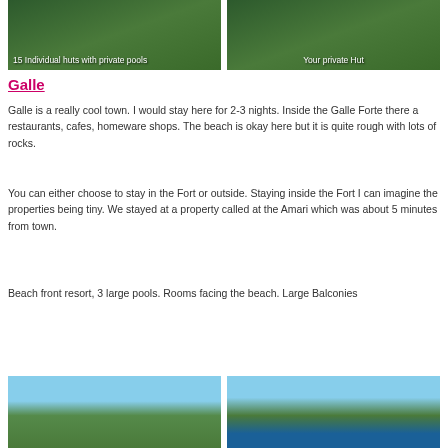[Figure (photo): Aerial view of huts with private pools surrounded by tropical greenery, caption: 15 Individual huts with private pools]
[Figure (photo): Aerial view of private hut surrounded by tropical trees, caption: Your private Hut]
Galle
Galle is a really cool town. I would stay here for 2-3 nights. Inside the Galle Forte there a restaurants, cafes, homeware shops. The beach is okay here but it is quite rough with lots of rocks.
You can either choose to stay in the Fort or outside. Staying inside the Fort I can imagine the properties being tiny. We stayed at a property called at the Amari which was about 5 minutes from town.
Beach front resort, 3 large pools. Rooms facing the beach. Large Balconies
[Figure (photo): View of beach resort with palm trees, lighthouse, and water in background]
[Figure (photo): Aerial view of resort pool area with palm trees, sun loungers, and ocean]